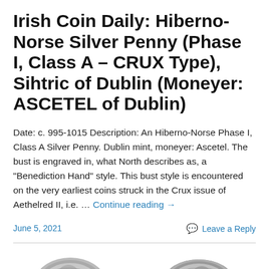Irish Coin Daily: Hiberno-Norse Silver Penny (Phase I, Class A – CRUX Type), Sihtric of Dublin (Moneyer: ASCETEL of Dublin)
Date: c. 995-1015 Description: An Hiberno-Norse Phase I, Class A Silver Penny. Dublin mint, moneyer: Ascetel. The bust is engraved in, what North describes as, a "Benediction Hand" style. This bust style is encountered on the very earliest coins struck in the Crux issue of Aethelred II, i.e. … Continue reading →
June 5, 2021     Leave a Reply
[Figure (photo): Two ancient silver coins (Hiberno-Norse) shown side by side in grayscale]